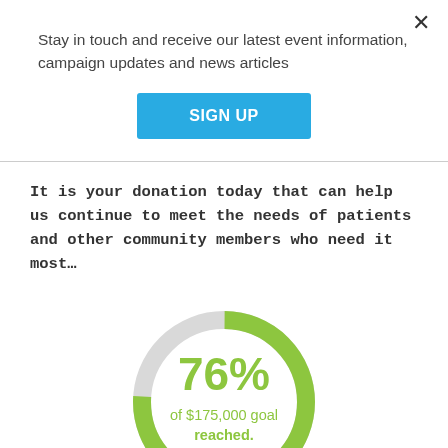Stay in touch and receive our latest event information, campaign updates and news articles
SIGN UP
It is your donation today that can help us continue to meet the needs of patients and other community members who need it most…
[Figure (donut-chart): 76% of $175,000 goal reached.]